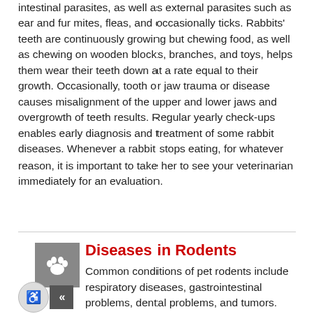intestinal parasites, as well as external parasites such as ear and fur mites, fleas, and occasionally ticks. Rabbits' teeth are continuously growing but chewing food, as well as chewing on wooden blocks, branches, and toys, helps them wear their teeth down at a rate equal to their growth. Occasionally, tooth or jaw trauma or disease causes misalignment of the upper and lower jaws and overgrowth of teeth results. Regular yearly check-ups enables early diagnosis and treatment of some rabbit diseases. Whenever a rabbit stops eating, for whatever reason, it is important to take her to see your veterinarian immediately for an evaluation.
[Figure (illustration): Two overlapping icon boxes: a grey square with a white paw print, and below it a circular wheelchair accessibility symbol and a grey box with double left-arrow chevron]
Diseases in Rodents
Common conditions of pet rodents include respiratory diseases, gastrointestinal problems, dental problems, and tumors. Signs of